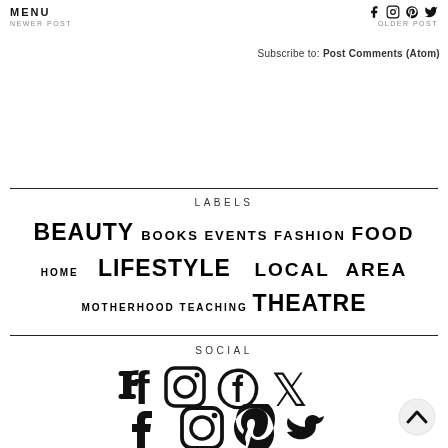MENU
NEWER POST
OLDER POST
Subscribe to: Post Comments (Atom)
LABELS
BEAUTY BOOKS EVENTS FASHION FOOD HOME LIFESTYLE LOCAL AREA MOTHERHOOD TEACHING THEATRE
SOCIAL
[Figure (infographic): Social media icons: Facebook, Instagram, Pinterest, Twitter]